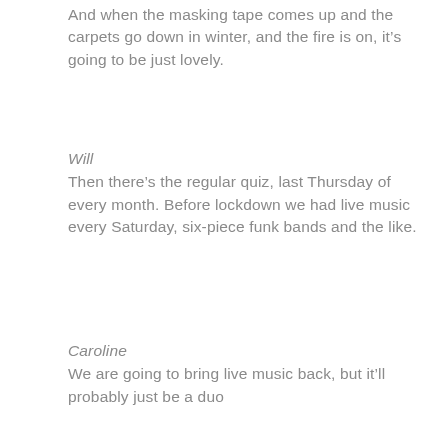And when the masking tape comes up and the carpets go down in winter, and the fire is on, it’s going to be just lovely.
Will
Then there’s the regular quiz, last Thursday of every month. Before lockdown we had live music every Saturday, six-piece funk bands and the like.
Caroline
We are going to bring live music back, but it’ll probably just be a duo